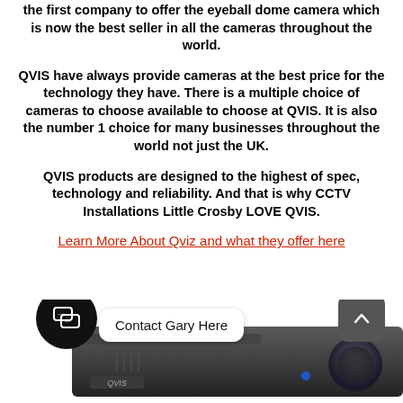the first company to offer the eyeball dome camera which is now the best seller in all the cameras throughout the world.
QVIS have always provide cameras at the best price for the technology they have. There is a multiple choice of cameras to choose available to choose at QVIS. It is also the number 1 choice for many businesses throughout the world not just the UK.
QVIS products are designed to the highest of spec, technology and reliability. And that is why CCTV Installations Little Crosby LOVE QVIS.
Learn More About Qviz and what they offer here
[Figure (screenshot): Bottom section showing a QVIS DVR device, a chat icon button, a 'Contact Gary Here' speech bubble, and an up-arrow button.]